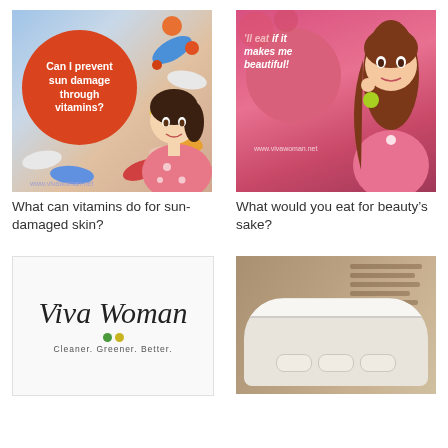[Figure (illustration): Blog thumbnail image with orange circle overlay text 'Can I prevent sun damage through vitamins?' on a colorful pills background with a cartoon woman]
[Figure (illustration): Blog thumbnail image with pink background and text 'I'll eat if it makes me beautiful!' overlay on a cartoon woman eating]
What can vitamins do for sun-damaged skin?
What would you eat for beauty's sake?
[Figure (logo): Viva Woman logo with italic script text, tagline 'Cleaner. Greener. Better.' and green/yellow dots]
[Figure (photo): Photo of supplement capsules/pills in a white container with a book or label text visible in background]